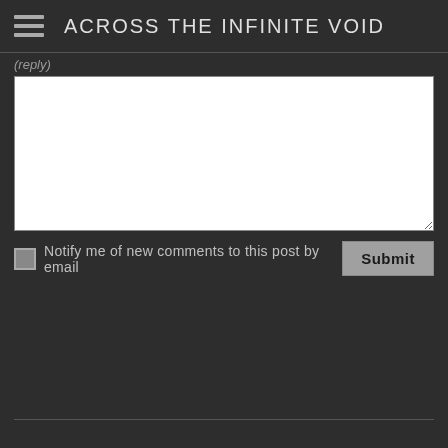ACROSS THE INFINITE VOID
(partially visible label text above textarea)
[Figure (screenshot): Comment form textarea input box, white background with resize handle at bottom right]
Notify me of new comments to this post by email
Submit